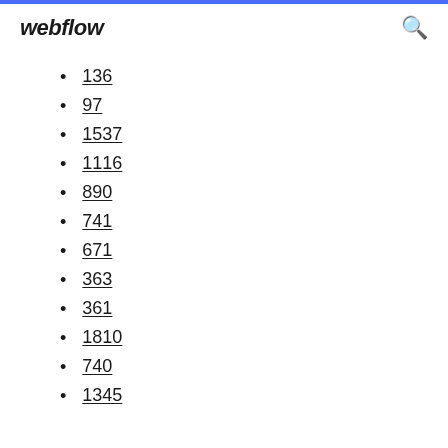webflow
136
97
1537
1116
890
741
671
363
361
1810
740
1345